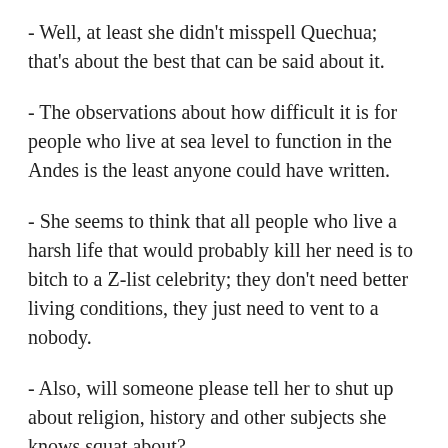- Well, at least she didn't misspell Quechua; that's about the best that can be said about it.
- The observations about how difficult it is for people who live at sea level to function in the Andes is the least anyone could have written.
- She seems to think that all people who live a harsh life that would probably kill her need is to bitch to a Z-list celebrity; they don't need better living conditions, they just need to vent to a nobody.
- Also, will someone please tell her to shut up about religion, history and other subjects she knows squat about?